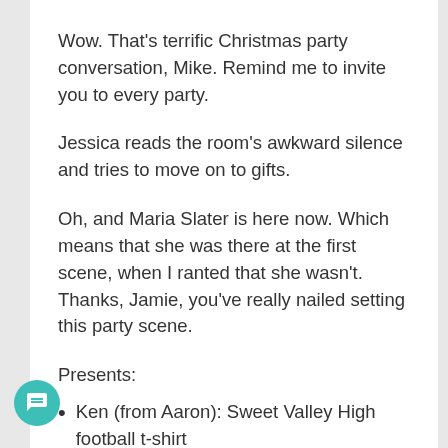Wow. That's terrific Christmas party conversation, Mike. Remind me to invite you to every party.
Jessica reads the room's awkward silence and tries to move on to gifts.
Oh, and Maria Slater is here now. Which means that she was there at the first scene, when I ranted that she wasn't. Thanks, Jamie, you've really nailed setting this party scene.
Presents:
Ken (from Aaron): Sweet Valley High football t-shirt
Mandy (from Ken): a keychain of a "funky black